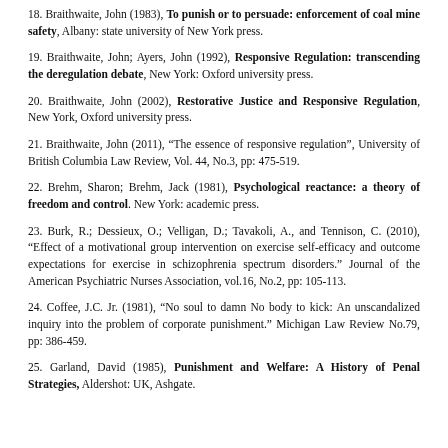18. Braithwaite, John (1983), To punish or to persuade: enforcement of coal mine safety, Albany: state university of New York press.
19. Braithwaite, John; Ayers, John (1992), Responsive Regulation: transcending the deregulation debate, New York: Oxford university press.
20. Braithwaite, John (2002), Restorative Justice and Responsive Regulation, New York, Oxford university press.
21. Braithwaite, John (2011), "The essence of responsive regulation", University of British Columbia Law Review, Vol. 44, No.3, pp: 475-519.
22. Brehm, Sharon; Brehm, Jack (1981), Psychological reactance: a theory of freedom and control. New York: academic press.
23. Burk, R.; Dessieux, O.; Velligan, D.; Tavakoli, A., and Tennison, C. (2010), "Effect of a motivational group intervention on exercise self-efficacy and outcome expectations for exercise in schizophrenia spectrum disorders." Journal of the American Psychiatric Nurses Association, vol.16, No.2, pp: 105-113.
24. Coffee, J.C. Jr. (1981), "No soul to damn No body to kick: An unscandalized inquiry into the problem of corporate punishment." Michigan Law Review No.79, pp: 386-459.
25. Garland, David (1985), Punishment and Welfare: A History of Penal Strategies, Aldershot: UK, Ashgate.